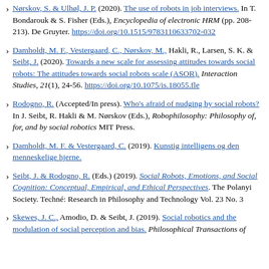Nørskov, S. & Ulhøl, J. P. (2020). The use of robots in job interviews. In T. Bondarouk & S. Fisher (Eds.), Encyclopedia of electronic HRM (pp. 208-213). De Gruyter. https://doi.org/10.1515/9783110633702-032
Damholdt, M. F., Vestergaard, C., Nørskov, M., Hakli, R., Larsen, S. K. & Seibt, J. (2020). Towards a new scale for assessing attitudes towards social robots: The attitudes towards social robots scale (ASOR). Interaction Studies, 21(1), 24-56. https://doi.org/10.1075/is.18055.fle
Rodogno, R. (Accepted/In press). Who's afraid of nudging by social robots? In J. Seibt, R. Hakli & M. Nørskov (Eds.), Robophilosophy: Philosophy of, for, and by social robotics MIT Press.
Damholdt, M. F. & Vestergaard, C. (2019). Kunstig intelligens og den menneskelige hjerne.
Seibt, J. & Rodogno, R. (Eds.) (2019). Social Robots, Emotions, and Social Cognition: Conceptual, Empirical, and Ethical Perspectives. The Polanyi Society. Techné: Research in Philosophy and Technology Vol. 23 No. 3
Skewes, J. C., Amodio, D. & Seibt, J. (2019). Social robotics and the modulation of social perception and bias. Philosophical Transactions of...